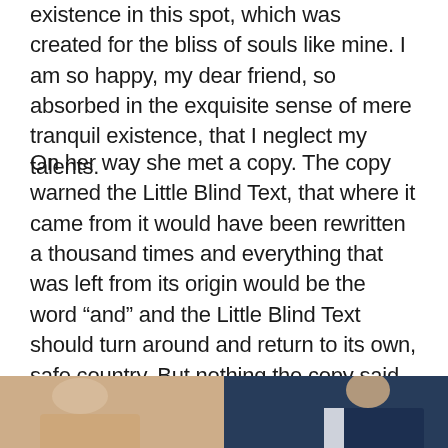existence in this spot, which was created for the bliss of souls like mine. I am so happy, my dear friend, so absorbed in the exquisite sense of mere tranquil existence, that I neglect my talents.
On her way she met a copy. The copy warned the Little Blind Text, that where it came from it would have been rewritten a thousand times and everything that was left from its origin would be the word “and” and the Little Blind Text should turn around and return to its own, safe country. But nothing the copy said could convince her and so it didn’t take long until a few insidious Copy Writers ambushed her, made her drunk with Longe and Parole and dragged her into their agency, where they abused her for their projects again and again. And if she hasn’t been rewritten, then they are still using her.
[Figure (photo): Bottom strip showing two partial photos side by side: left shows a person in light/beige clothing, right shows a person in a dark navy suit]